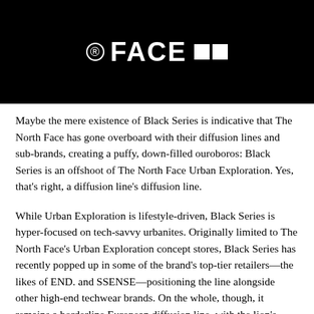[Figure (logo): The North Face logo on black background with registered trademark symbol and two white squares]
Maybe the mere existence of Black Series is indicative that The North Face has gone overboard with their diffusion lines and sub-brands, creating a puffy, down-filled ouroboros: Black Series is an offshoot of The North Face Urban Exploration. Yes, that's right, a diffusion line's diffusion line.
While Urban Exploration is lifestyle-driven, Black Series is hyper-focused on tech-savvy urbanites. Originally limited to The North Face's Urban Exploration concept stores, Black Series has recently popped up in some of the brand's top-tier retailers—the likes of END. and SSENSE—positioning the line alongside other high-end techwear brands. On the whole, though, it remains a borderline European diffusion line, with the lion's share of retailers found on the Old Continent.